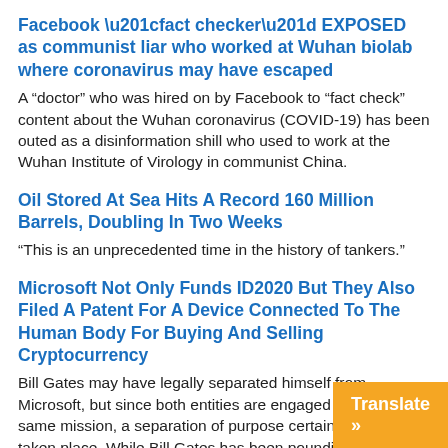Facebook “fact checker” EXPOSED as communist liar who worked at Wuhan biolab where coronavirus may have escaped
A “doctor” who was hired on by Facebook to “fact check” content about the Wuhan coronavirus (COVID-19) has been outed as a disinformation shill who used to work at the Wuhan Institute of Virology in communist China.
Oil Stored At Sea Hits A Record 160 Million Barrels, Doubling In Two Weeks
“This is an unprecedented time in the history of tankers.”
Microsoft Not Only Funds ID2020 But They Also Filed A Patent For A Device Connected To The Human Body For Buying And Selling Cryptocurrency
Bill Gates may have legally separated himself from Microsoft, but since both entities are engaged in exactly the same mission, a separation of purpose certainly has not taken place. While Bill Gates has been pounding the pavement, telling people that a global vacc…